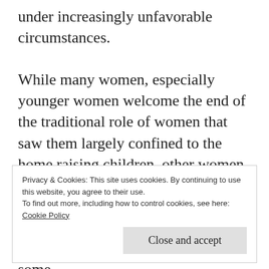under increasingly unfavorable circumstances.
While many women, especially younger women welcome the end of the traditional role of women that saw them largely confined to the home raising children, other women are disturbed by the declining number of good male “breadwinners” available on the marriage market. This explains why some
Privacy & Cookies: This site uses cookies. By continuing to use this website, you agree to their use.
To find out more, including how to control cookies, see here:
Cookie Policy
Close and accept